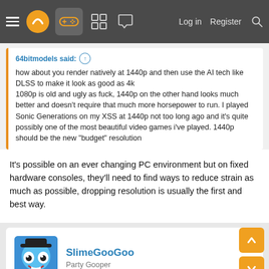Navigation bar with hamburger menu, logo, controller icon, grid icon, chat icon, Log in, Register, Search
64bitmodels said: ↑
how about you render natively at 1440p and then use the AI tech like DLSS to make it look as good as 4k
1080p is old and ugly as fuck, 1440p on the other hand looks much better and doesn't require that much more horsepower to run. I played Sonic Generations on my XSS at 1440p not too long ago and it's quite possibly one of the most beautiful video games i've played. 1440p should be the new "budget" resolution
It's possible on an ever changing PC environment but on fixed hardware consoles, they'll need to find ways to reduce strain as much as possible, dropping resolution is usually the first and best way.
SlimeGooGoo
Party Gooper